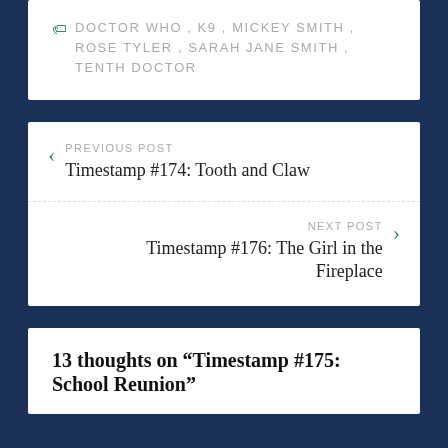DOCTOR WHO, K9, MICKEY SMITH, ROSE TYLER, SARAH JANE SMITH, TENTH DOCTOR
PREVIOUS POST
Timestamp #174: Tooth and Claw
NEXT POST
Timestamp #176: The Girl in the Fireplace
13 thoughts on “Timestamp #175: School Reunion”